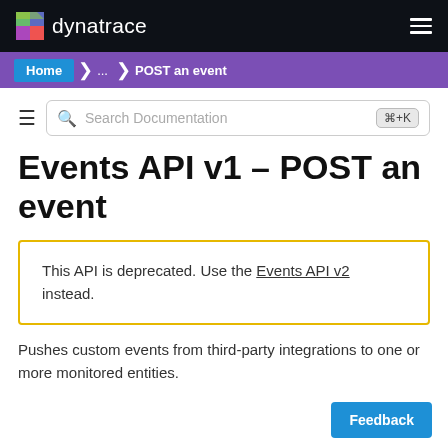dynatrace
Home > ... > POST an event
Events API v1 - POST an event
This API is deprecated. Use the Events API v2 instead.
Pushes custom events from third-party integrations to one or more monitored entities.